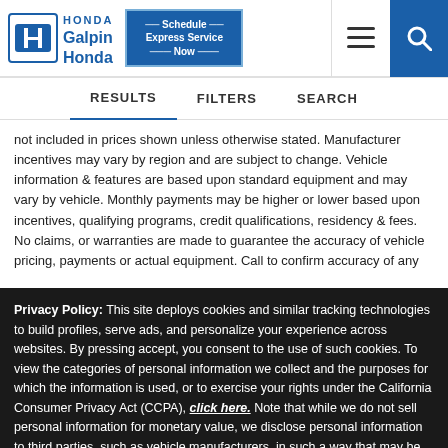[Figure (logo): Galpin Honda logo with Honda H emblem in blue rectangle and blue text 'Galpin Honda']
Schedule Express Service Now | hamburger menu | search
RESULTS   FILTERS   SEARCH
not included in prices shown unless otherwise stated. Manufacturer incentives may vary by region and are subject to change. Vehicle information & features are based upon standard equipment and may vary by vehicle. Monthly payments may be higher or lower based upon incentives, qualifying programs, credit qualifications, residency & fees. No claims, or warranties are made to guarantee the accuracy of vehicle pricing, payments or actual equipment. Call to confirm accuracy of any
Privacy Policy: This site deploys cookies and similar tracking technologies to build profiles, serve ads, and personalize your experience across websites. By pressing accept, you consent to the use of such cookies. To view the categories of personal information we collect and the purposes for which the information is used, or to exercise your rights under the California Consumer Privacy Act (CCPA), click here. Note that while we do not sell personal information for monetary value, we disclose personal information to third parties, such as vehicle manufacturers, in such a way that may be considered a "sale" of personal information under the CCPA. To direct us to stop the sale of your personal information, or to re-access these settings or disclosures at anytime, click the following icon or link:
Do Not Sell My Personal Information
Language: English   Powered by ComplyAuto
Accept and Continue →   California Privacy Disclosures